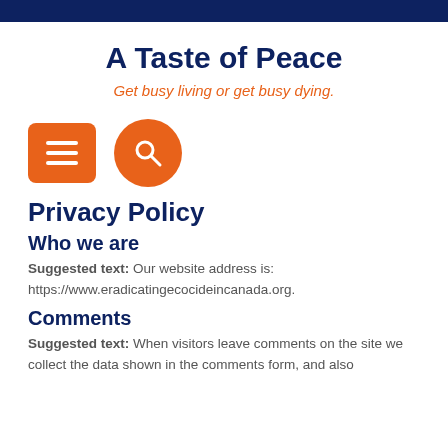A Taste of Peace
Get busy living or get busy dying.
[Figure (other): Orange hamburger menu button (rectangle with three horizontal lines) and orange circular search button with magnifying glass icon]
Privacy Policy
Who we are
Suggested text: Our website address is: https://www.eradicatingecocideincanada.org.
Comments
Suggested text: When visitors leave comments on the site we collect the data shown in the comments form, and also